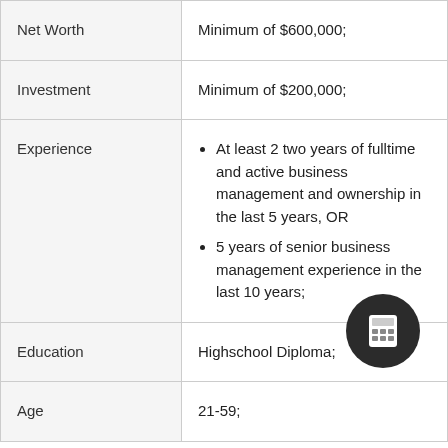| Net Worth | Minimum of $600,000; |
| Investment | Minimum of $200,000; |
| Experience | • At least 2 two years of fulltime and active business management and ownership in the last 5 years, OR
• 5 years of senior business management experience in the last 10 years; |
| Education | Highschool Diploma; |
| Age | 21-59; |